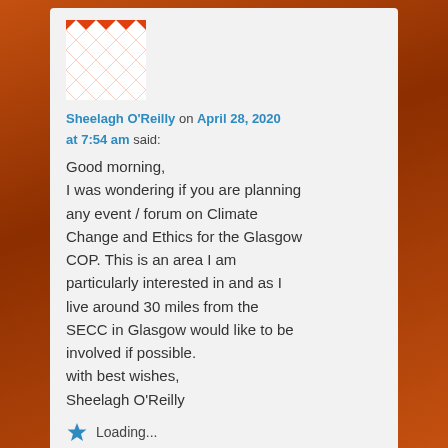[Figure (illustration): Orange and white geometric patterned avatar/gravatar image for Sheelagh O'Reilly]
Sheelagh O'Reilly on April 28, 2020 at 7:54 am said:
Good morning,
I was wondering if you are planning any event / forum on Climate Change and Ethics for the Glasgow COP. This is an area I am particularly interested in and as I live around 30 miles from the SECC in Glasgow would like to be involved if possible.
with best wishes,
Sheelagh O'Reilly
Loading...
Reply ↓